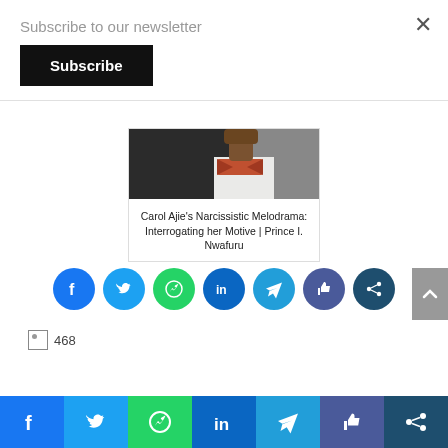Subscribe to our newsletter
Subscribe
[Figure (photo): Man in dark jacket wearing an orange/red bow tie, photo cropped to chest area]
Carol Ajie’s Narcissistic Melodrama: Interrogating her Motive | Prince I. Nwafuru
[Figure (infographic): Row of social sharing icons: Facebook, Twitter, WhatsApp, LinkedIn, Telegram, Like, Share]
[Figure (other): Broken image placeholder with text '468']
[Figure (infographic): Bottom social sharing bar with icons: Facebook, Twitter, WhatsApp, LinkedIn, Telegram, Like, Share]